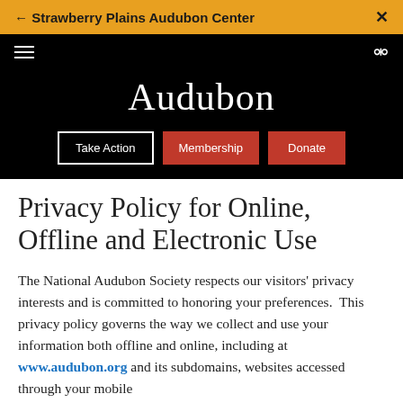← Strawberry Plains Audubon Center  ×
[Figure (logo): Audubon organization logo with navigation bar showing hamburger menu, search icon, Take Action button, Membership button, and Donate button on black background]
Privacy Policy for Online, Offline and Electronic Use
The National Audubon Society respects our visitors' privacy interests and is committed to honoring your preferences.  This privacy policy governs the way we collect and use your information both offline and online, including at www.audubon.org and its subdomains, websites accessed through your mobile